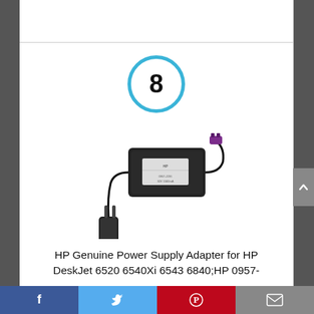[Figure (other): Number 8 inside a blue circle badge, serving as a ranking/list item number]
[Figure (photo): HP Genuine Power Supply Adapter product photo showing the power brick, cable, and plug]
HP Genuine Power Supply Adapter for HP DeskJet 6520 6540Xi 6543 6840;HP 0957-
[Figure (other): Social media sharing bar with Facebook, Twitter, Pinterest, and Email buttons at bottom of page]